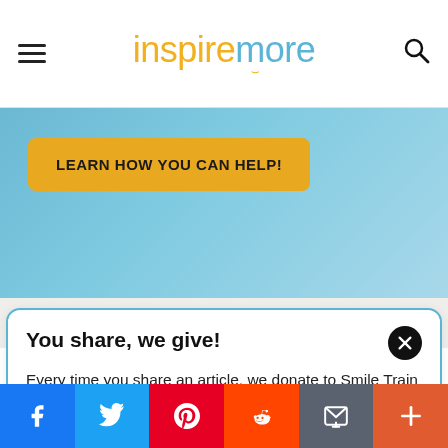inspiremore
[Figure (screenshot): Hero banner with blue gradient background showing a yellow button labeled LEARN HOW YOU CAN HELP!]
You share, we give!
Every time you share an article, we donate to Smile Train to provide life-changing cleft surgeries to children in need.
$11.10 raised today! Learn more here.
[Figure (infographic): Social share bar at the bottom with Facebook, Twitter, Pinterest, Reddit, Email, and Plus buttons]